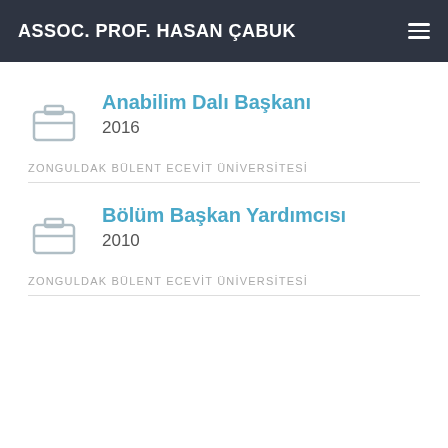ASSOC. PROF. HASAN ÇABUK
Anabilim Dalı Başkanı
2016
ZONGULDAK BÜLENT ECEVİT ÜNİVERSİTESİ
Bölüm Başkan Yardımcısı
2010
ZONGULDAK BÜLENT ECEVİT ÜNİVERSİTESİ